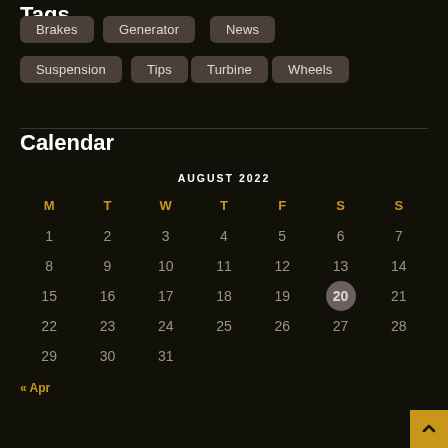Tags
Brakes
Generator
News
Suspension
Tips
Turbine
Wheels
Calendar
| M | T | W | T | F | S | S |
| --- | --- | --- | --- | --- | --- | --- |
| 1 | 2 | 3 | 4 | 5 | 6 | 7 |
| 8 | 9 | 10 | 11 | 12 | 13 | 14 |
| 15 | 16 | 17 | 18 | 19 | 20 | 21 |
| 22 | 23 | 24 | 25 | 26 | 27 | 28 |
| 29 | 30 | 31 |  |  |  |  |
« Apr